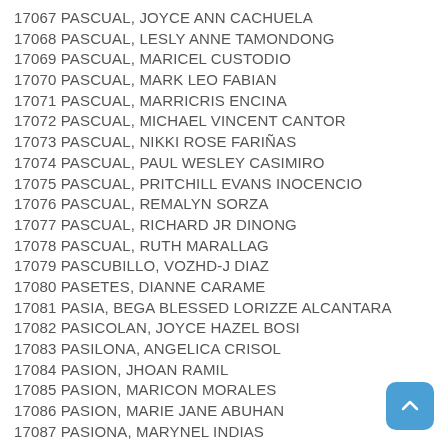17067 PASCUAL, JOYCE ANN CACHUELA
17068 PASCUAL, LESLY ANNE TAMONDONG
17069 PASCUAL, MARICEL CUSTODIO
17070 PASCUAL, MARK LEO FABIAN
17071 PASCUAL, MARRICRIS ENCINA
17072 PASCUAL, MICHAEL VINCENT CANTOR
17073 PASCUAL, NIKKI ROSE FARIÑAS
17074 PASCUAL, PAUL WESLEY CASIMIRO
17075 PASCUAL, PRITCHILL EVANS INOCENCIO
17076 PASCUAL, REMALYN SORZA
17077 PASCUAL, RICHARD JR DINONG
17078 PASCUAL, RUTH MARALLAG
17079 PASCUBILLO, VOZHD-J DIAZ
17080 PASETES, DIANNE CARAME
17081 PASIA, BEGA BLESSED LORIZZE ALCANTARA
17082 PASICOLAN, JOYCE HAZEL BOSI
17083 PASILONA, ANGELICA CRISOL
17084 PASION, JHOAN RAMIL
17085 PASION, MARICON MORALES
17086 PASION, MARIE JANE ABUHAN
17087 PASIONA, MARYNEL INDIAS